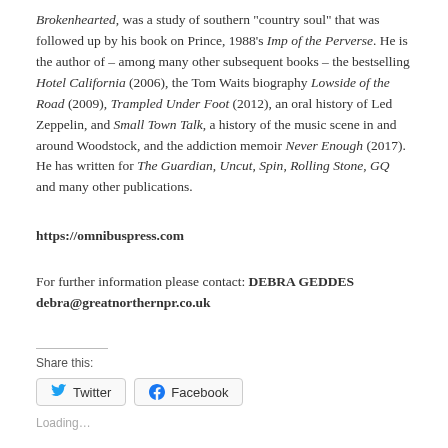Brokenhearted, was a study of southern "country soul" that was followed up by his book on Prince, 1988's Imp of the Perverse. He is the author of – among many other subsequent books – the bestselling Hotel California (2006), the Tom Waits biography Lowside of the Road (2009), Trampled Under Foot (2012), an oral history of Led Zeppelin, and Small Town Talk, a history of the music scene in and around Woodstock, and the addiction memoir Never Enough (2017). He has written for The Guardian, Uncut, Spin, Rolling Stone, GQ and many other publications.
https://omnibuspress.com
For further information please contact: DEBRA GEDDES debra@greatnorthernpr.co.uk
Share this:
[Figure (other): Twitter and Facebook share buttons]
Loading...